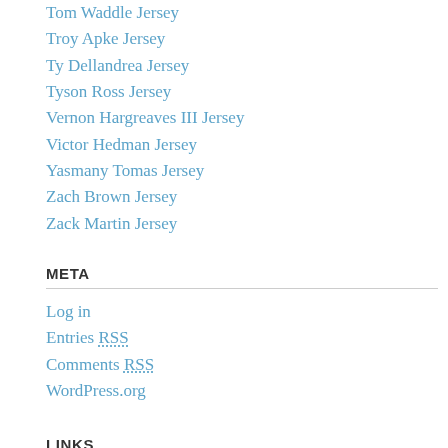Tom Waddle Jersey
Troy Apke Jersey
Ty Dellandrea Jersey
Tyson Ross Jersey
Vernon Hargreaves III Jersey
Victor Hedman Jersey
Yasmany Tomas Jersey
Zach Brown Jersey
Zack Martin Jersey
META
Log in
Entries RSS
Comments RSS
WordPress.org
LINKS